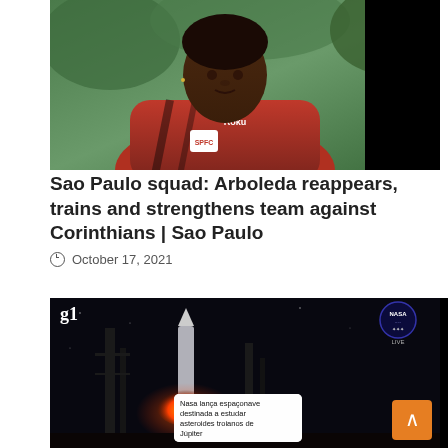[Figure (photo): Photo of a football player wearing a red São Paulo FC (SPFC) training jacket with Roku sponsor logo, standing outdoors with green background]
Sao Paulo squad: Arboleda reappears, trains and strengthens team against Corinthians | Sao Paulo
October 17, 2021
[Figure (screenshot): Screenshot from g1 news showing a rocket launch at night with NASA LIVE watermark. A caption overlay reads: Nasa lança espaçonave destinada a estudar asteroides troianos de Júpiter]